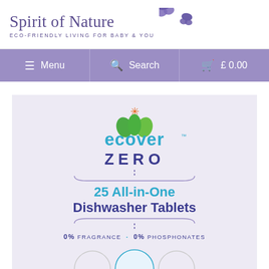[Figure (logo): Spirit of Nature logo with butterfly icons and subtitle ECO-FRIENDLY LIVING FOR BABY & YOU]
≡ Menu   🔍 Search   🛒 £ 0.00
[Figure (photo): Ecover ZERO 25 All-in-One Dishwasher Tablets product packaging showing brand logo, product name, and 0% FRAGRANCE 0% PHOSPHONATES claims on light grey/white background]